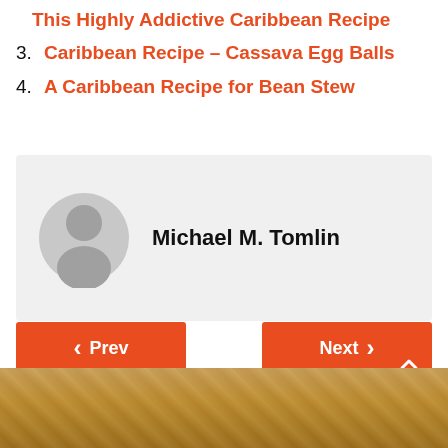This Highly Addictive Caribbean Recipe
3. Caribbean Recipe – Cassava Egg Balls
4. A Caribbean Recipe for Bean Stew
Michael M. Tomlin
Prev
Next